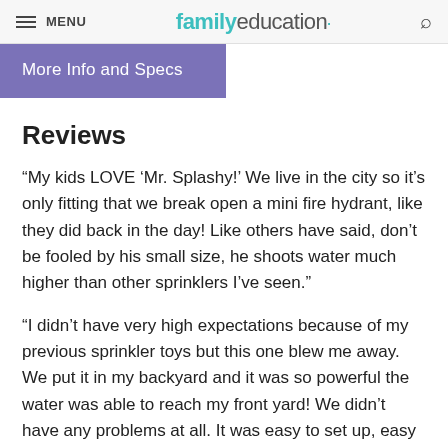MENU | familyeducation
More Info and Specs
Reviews
“My kids LOVE 'Mr. Splashy!' We live in the city so it’s only fitting that we break open a mini fire hydrant, like they did back in the day! Like others have said, don’t be fooled by his small size, he shoots water much higher than other sprinklers I’ve seen.”
“I didn’t have very high expectations because of my previous sprinkler toys but this one blew me away. We put it in my backyard and it was so powerful the water was able to reach my front yard! We didn’t have any problems at all. It was easy to set up, easy to use and the best part.... it didn’t repeatedly fall over! This kept my